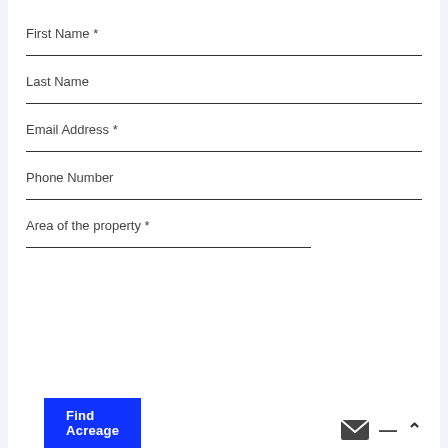First Name *
Last Name
Email Address *
Phone Number
Area of the property *
Find Acreage